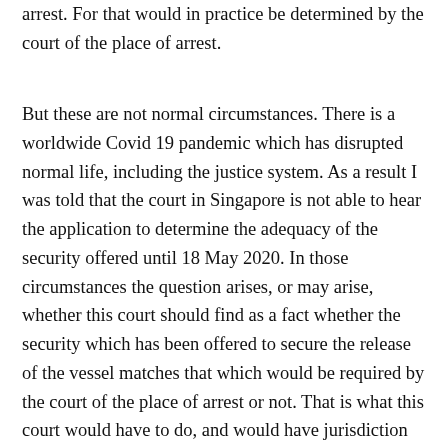arrest. For that would in practice be determined by the court of the place of arrest.
But these are not normal circumstances. There is a worldwide Covid 19 pandemic which has disrupted normal life, including the justice system. As a result I was told that the court in Singapore is not able to hear the application to determine the adequacy of the security offered until 18 May 2020. In those circumstances the question arises, or may arise, whether this court should find as a fact whether the security which has been offered to secure the release of the vessel matches that which would be required by the court of the place of arrest or not. That is what this court would have to do, and would have jurisdiction to do, if, unusually, there was no appropriate application before the court of the place of arrest. Those are not the circumstances of this case. There is an appropriate application in